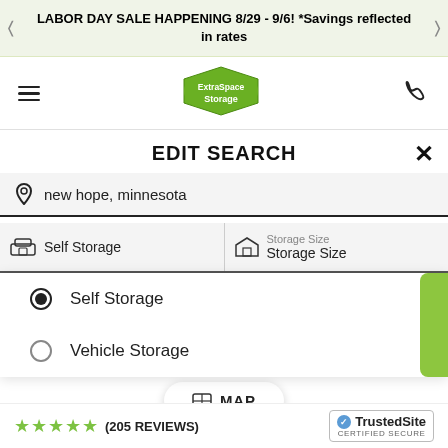LABOR DAY SALE HAPPENING 8/29 - 9/6! *Savings reflected in rates
[Figure (logo): Extra Space Storage logo - green hexagon badge with white text]
EDIT SEARCH
new hope, minnesota
Self Storage
Storage Size
Storage Size
Self Storage (selected radio button)
Vehicle Storage
MAP
(205 REVIEWS)  TrustedSite CERTIFIED SECURE